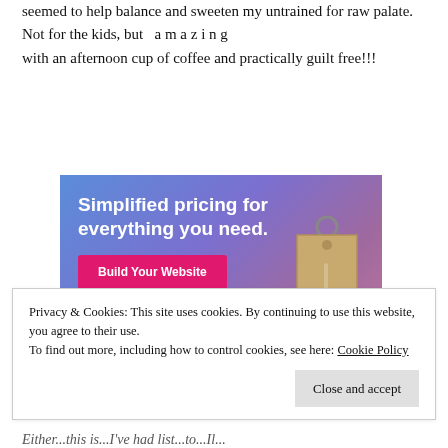seemed to help balance and sweeten my untrained for raw palate. Not for the kids, but   a m a z i n g   with an afternoon cup of coffee and practically guilt free!!!
[Figure (screenshot): Advertisement banner with gradient blue-purple background. Text reads 'Simplified pricing for everything you need.' with a pink 'Build Your Website' button and a price tag illustration.]
Privacy & Cookies: This site uses cookies. By continuing to use this website, you agree to their use.
To find out more, including how to control cookies, see here: Cookie Policy
[Close and accept button]
Either...this is...I've had list...to...Il...